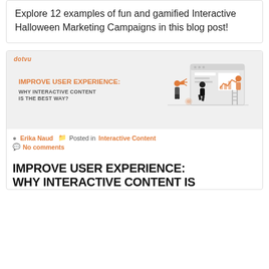Explore 12 examples of fun and gamified Interactive Halloween Marketing Campaigns in this blog post!
[Figure (illustration): Blog post card image for 'Improve User Experience: Why Interactive Content Is The Best Way?' featuring the dotvu logo, orange bold title text, and an illustration of three people interacting with a large browser/screen UI element]
Erika Naud  Posted in Interactive Content  No comments
IMPROVE USER EXPERIENCE: WHY INTERACTIVE CONTENT IS